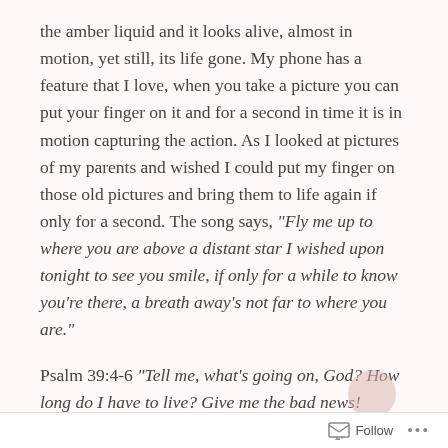the amber liquid and it looks alive, almost in motion, yet still, its life gone. My phone has a feature that I love, when you take a picture you can put your finger on it and for a second in time it is in motion capturing the action. As I looked at pictures of my parents and wished I could put my finger on those old pictures and bring them to life again if only for a second. The song says, “Fly me up to where you are above a distant star I wished upon tonight to see you smile, if only for a while to know you’re there, a breath away’s not far to where you are.”
Psalm 39:4-6 “Tell me, what’s going on, God? How long do I have to live? Give me the bad news! You’ve
Follow